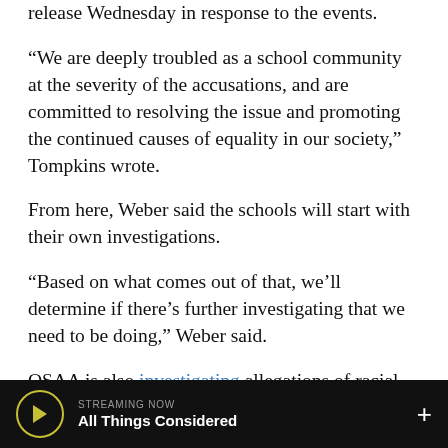release Wednesday in response to the events.
“We are deeply troubled as a school community at the severity of the accusations, and are committed to resolving the issue and promoting the continued causes of equality in our society,” Tompkins wrote.
From here, Weber said the schools will start with their own investigations.
“Based on what comes out of that, we’ll determine if there’s further investigating that we need to be doing,” Weber said.
OSAA is also investigating allegations of racial slurs during a football game last month between La Grande and Gladstone high schools.
STREAMING NOW
All Things Considered